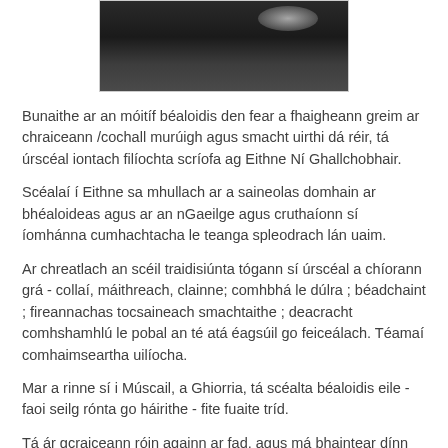[Figure (photo): A dark photograph showing what appears to be a seal or marine animal on a dark surface, with some white/light areas visible in the upper right.]
Bunaithe ar an móitíf béaloidis den fear a fhaigheann greim ar chraiceann /cochall murúigh agus smacht uirthi dá réir, tá úrscéal iontach filíochta scríofa ag Eithne Ní Ghallchobhair.
Scéalaí í Eithne sa mhullach ar a saineolas domhain ar bhéaloideas agus ar an nGaeilge agus cruthaíonn sí íomhánna cumhachtacha le teanga spleodrach lán uaim.
Ar chreatlach an scéil traidisiúnta tógann sí úrscéal a chíorann grá - collaí, máithreach, clainne; comhbhá le dúlra ; béadchaint ; fireannachas tocsaineach smachtaithe ; deacracht comhshamhlú le pobal an té atá éagsúil go feiceálach. Téamaí comhaimseartha uilíocha.
Mar a rinne sí i Múscail, a Ghiorria, tá scéalta béaloidis eile - faoi seilg rónta go háirithe - fite fuaite tríd.
Tá ár gcraiceann róin againn ar fad, agus má bhaintear dínn